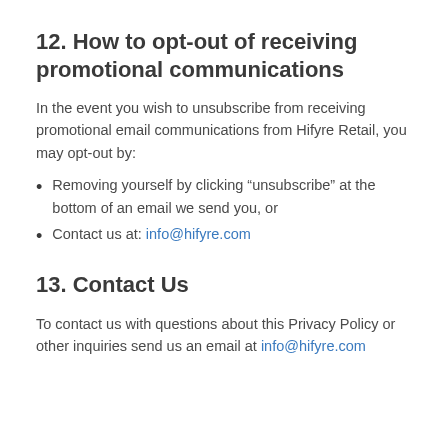12. How to opt-out of receiving promotional communications
In the event you wish to unsubscribe from receiving promotional email communications from Hifyre Retail, you may opt-out by:
Removing yourself by clicking “unsubscribe” at the bottom of an email we send you, or
Contact us at: info@hifyre.com
13. Contact Us
To contact us with questions about this Privacy Policy or other inquiries send us an email at info@hifyre.com